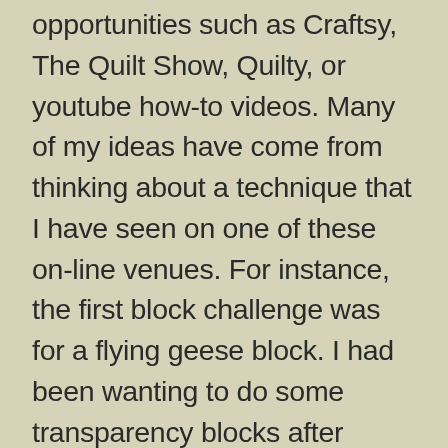opportunities such as Craftsy, The Quilt Show, Quilty, or youtube how-to videos. Many of my ideas have come from thinking about a technique that I have seen on one of these on-line venues. For instance, the first block challenge was for a flying geese block. I had been wanting to do some transparency blocks after watching Weeks Ringle's Craftsy class. In order to achieve this, I needed to do foundation piecing. I designed the block on EQ7, and printed out my foundation piece templates. I learned how to do foundation piecing by taking several of the Craftsy classes. This was my first attempt at designing my own foundation